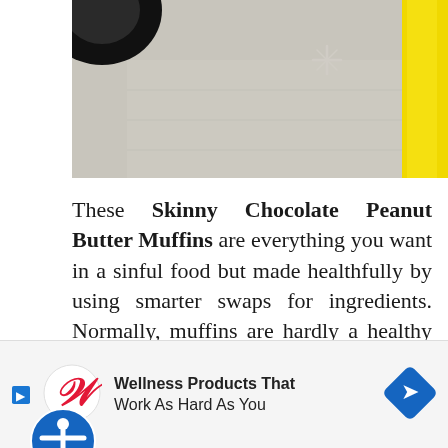[Figure (photo): Partial photo showing a tire and yellow object on a light floor surface, with a small snowflake/cross visible on the floor]
These Skinny Chocolate Peanut Butter Muffins are everything you want in a sinful food but made healthfully by using smarter swaps for ingredients. Normally, muffins are hardly a healthy choice — your standard blueberry muffin at a bakery will set you back around 550-600 calories apiece!  But by making smart swaps — which are every bit as easy as making your traditional recipe — you can have a lower calorie muffin for a large fraction...
[Figure (logo): Walgreens advertisement banner: 'Wellness Products That Work As Hard As You' with Walgreens W logo and blue navigation arrow icon]